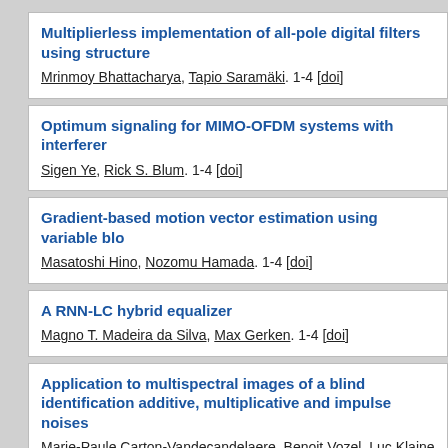Multiplierless implementation of all-pole digital filters using structure
Mrinmoy Bhattacharya, Tapio Saramäki. 1-4 [doi]
Optimum signaling for MIMO-OFDM systems with interference
Sigen Ye, Rick S. Blum. 1-4 [doi]
Gradient-based motion vector estimation using variable blo
Masatoshi Hino, Nozomu Hamada. 1-4 [doi]
A RNN-LC hybrid equalizer
Magno T. Madeira da Silva, Max Gerken. 1-4 [doi]
Application to multispectral images of a blind identification additive, multiplicative and impulse noises
Marie-Paule Carton-Vandecandelaere, Benoit Vozel, Luc Klaine [doi]